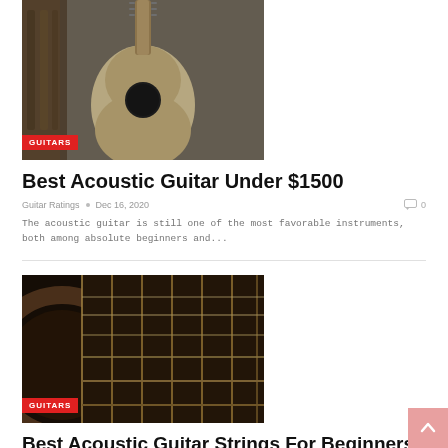[Figure (photo): Photo of acoustic guitars hanging in a store, with a prominent acoustic guitar in the center on a blue/black background. GUITARS badge overlay at bottom left.]
Best Acoustic Guitar Under $1500
Guitar Ratings • Dec 16, 2020   0
The acoustic guitar is still one of the most favorable instruments, both among absolute beginners and...
[Figure (photo): Close-up photo of acoustic guitar strings and fretboard with sound hole visible. Dark background. GUITARS badge overlay at bottom left.]
Best Acoustic Guitar Strings For Beginners